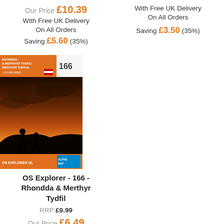Our Price £10.39
With Free UK Delivery On All Orders
Saving £5.60 (35%)
With Free UK Delivery On All Orders
Saving £3.50 (35%)
[Figure (illustration): OS Explorer 166 Rhondda & Merthyr Tydfil map cover with silhouette at sunset]
OS Explorer - 166 - Rhondda & Merthyr Tydfil
RRP £9.99
Our Price £6.49
With Free UK Delivery On All Orders